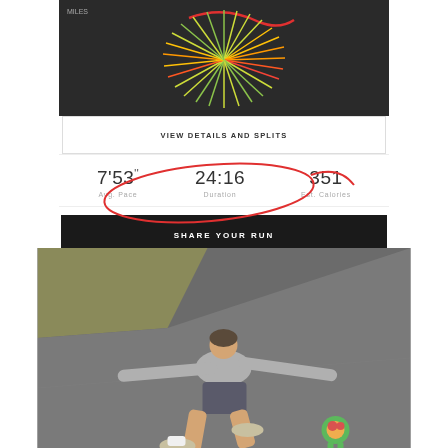[Figure (screenshot): Dark background fitness tracker visualization showing colorful radial lines (green, yellow, orange, red) emanating from center forming a sunburst pattern, with a red curved line at top]
VIEW DETAILS AND SPLITS
7'53" Avg. Pace   24:16 Duration   351 Est. Calories
[Figure (illustration): Hand-drawn red oval/circle annotation circling the 7'53'' Avg. Pace and 24:16 Duration stats with a curved line extending to the right]
SHARE YOUR RUN
[Figure (photo): Person lying flat on their back on a paved path/road in a star position, wearing grey shirt, grey shorts, white socks and sneakers. Grass is visible to the upper left. A colorful toy (green/red/yellow) is near their feet. Person appears exhausted after a run.]